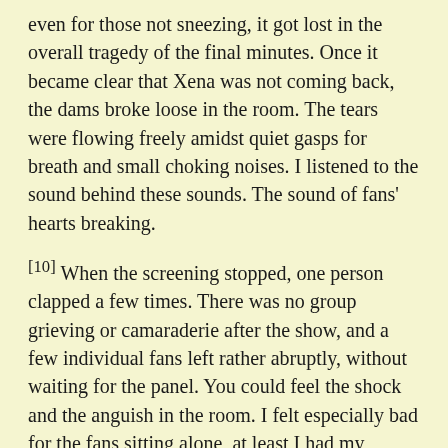even for those not sneezing, it got lost in the overall tragedy of the final minutes. Once it became clear that Xena was not coming back, the dams broke loose in the room. The tears were flowing freely amidst quiet gasps for breath and small choking noises. I listened to the sound behind these sounds. The sound of fans' hearts breaking.
[10] When the screening stopped, one person clapped a few times. There was no group grieving or camaraderie after the show, and a few individual fans left rather abruptly, without waiting for the panel. You could feel the shock and the anguish in the room. I felt especially bad for the fans sitting alone, at least I had my girlfriend there to lean on.
[11] In discussing the finale with others, I have found it easy to be caught up in plot points and character arcs and everyone's peeves and